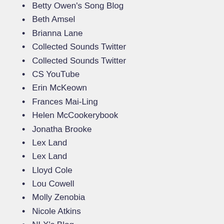Betty Owen's Song Blog
Beth Amsel
Brianna Lane
Collected Sounds Twitter
Collected Sounds Twitter
CS YouTube
Erin McKeown
Frances Mai-Ling
Helen McCookerybook
Jonatha Brooke
Lex Land
Lex Land
Lloyd Cole
Lou Cowell
Molly Zenobia
Nicole Atkins
NLX's Blog
Olga Nunes
Sarah Slean
Torami Hirsch